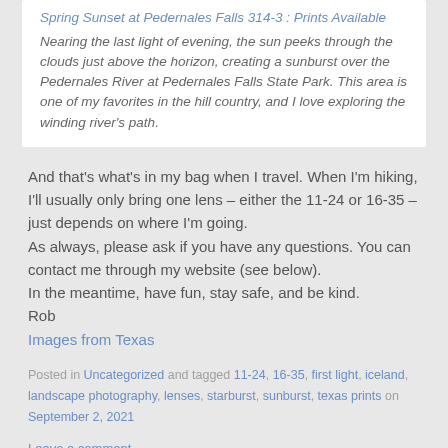Spring Sunset at Pedernales Falls 314-3 : Prints Available
Nearing the last light of evening, the sun peeks through the clouds just above the horizon, creating a sunburst over the Pedernales River at Pedernales Falls State Park. This area is one of my favorites in the hill country, and I love exploring the winding river's path.
And that's what's in my bag when I travel. When I'm hiking, I'll usually only bring one lens – either the 11-24 or 16-35 – just depends on where I'm going.
As always, please ask if you have any questions. You can contact me through my website (see below).
In the meantime, have fun, stay safe, and be kind.
Rob
Images from Texas
Posted in Uncategorized and tagged 11-24, 16-35, first light, iceland, landscape photography, lenses, starburst, sunburst, texas prints on September 2, 2021
Leave a comment